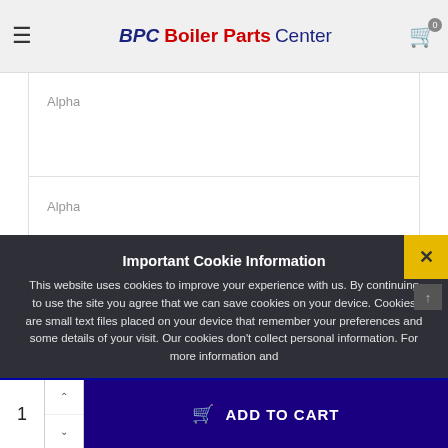BPC Boiler Parts Center
Alpha
Alpha
Alpha
Alpha
Alpha
Important Cookie Information

This website uses cookies to improve your experience with us. By continuing to use the site you agree that we can save cookies on your device. Cookies are small text files placed on your device that remember your preferences and some details of your visit. Our cookies don't collect personal information. For more information and
1  ADD TO CART